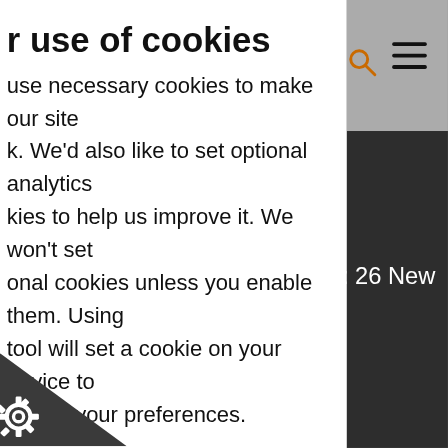r use of cookies
use necessary cookies to make our site k. We'd also like to set optional analytics kies to help us improve it. We won't set onal cookies unless you enable them. Using tool will set a cookie on your device to ember your preferences.
more detailed information about the kies we use, see our Cookies page
ACCEPT ALL COOKIES
REJECT ALL COOKIES